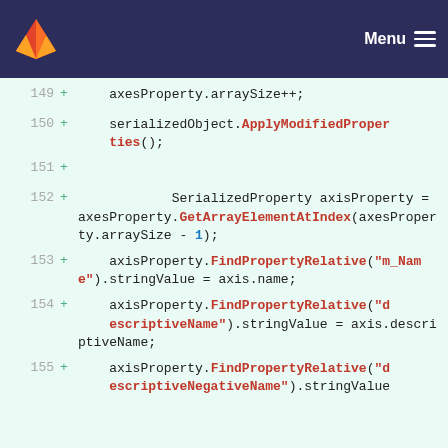GitLab logo | Menu
149 + axesProperty.arraySize++;
150 + serializedObject.ApplyModifiedProperties();
151 +
152 + SerializedProperty axisProperty = axesProperty.GetArrayElementAtIndex(axesProperty.arraySize - 1);
153 + axisProperty.FindPropertyRelative("m_Name").stringValue = axis.name;
154 + axisProperty.FindPropertyRelative("descriptiveName").stringValue = axis.descriptiveName;
155 + axisProperty.FindPropertyRelative("descriptiveNegativeName").stringValue